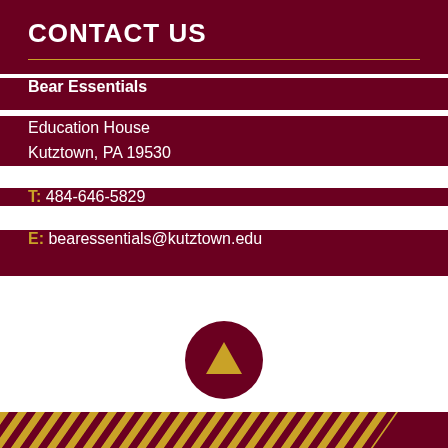CONTACT US
Bear Essentials
Education House
Kutztown, PA 19530
T: 484-646-5829
E: bearessentials@kutztown.edu
[Figure (illustration): Circular maroon button with gold upward-pointing triangle arrow, labeled BACK TO TOP]
BACK TO TOP
[Figure (illustration): Diagonal gold and maroon stripe bar at the bottom of the page]